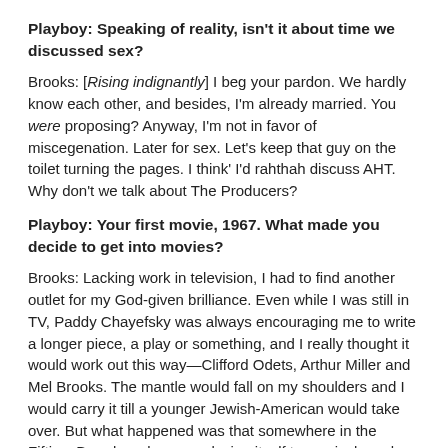Playboy: Speaking of reality, isn't it about time we discussed sex?
Brooks: [Rising indignantly] I beg your pardon. We hardly know each other, and besides, I'm already married. You were proposing? Anyway, I'm not in favor of miscegenation. Later for sex. Let's keep that guy on the toilet turning the pages. I think' I'd rahthah discuss AHT. Why don't we talk about The Producers?
Playboy: Your first movie, 1967. What made you decide to get into movies?
Brooks: Lacking work in television, I had to find another outlet for my God-given brilliance. Even while I was still in TV, Paddy Chayefsky was always encouraging me to write a longer piece, a play or something, and I really thought it would work out this way—Clifford Odets, Arthur Miller and Mel Brooks. The mantle would fall on my shoulders and I would carry it till a younger Jewish-American would take over. But what happened was that somewhere in the Fifties, Broadway began reducing itself to musicals and five-character, one-set comedies, and to an audience whose intelligence, taste or numbers I could no longer take seriously.
Still, I did fool around with Broadway. For New Faces of '52, a landmark revue, I did a satire on Death of a Salesman and Elia Kazan's superheavy direction. Then a show I'm very proud of, Shinbone Alley, based on the Archy and Mehitabel stories of Don Marquis. Talked about social inequity, social hypocrisy. Rather Brechtian. But then, in the Fifties, the great